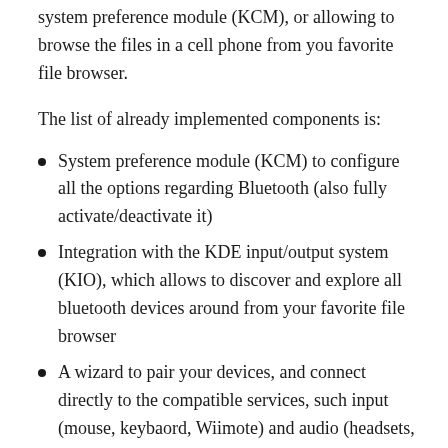system preference module (KCM), or allowing to browse the files in a cell phone from you favorite file browser.
The list of already implemented components is:
System preference module (KCM) to configure all the options regarding Bluetooth (also fully activate/deactivate it)
Integration with the KDE input/output system (KIO), which allows to discover and explore all bluetooth devices around from your favorite file browser
A wizard to pair your devices, and connect directly to the compatible services, such input (mouse, keybaord, Wiimote) and audio (headsets, phones)
Systray application integrated with the last KDE SC